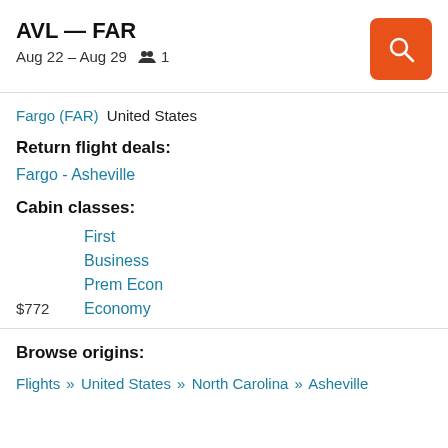AVL — FAR
Aug 22 – Aug 29   1
Fargo (FAR)   United States
Return flight deals:
Fargo - Asheville
Cabin classes:
First
Business
Prem Econ
$772   Economy
Browse origins:
Flights » United States » North Carolina » Asheville